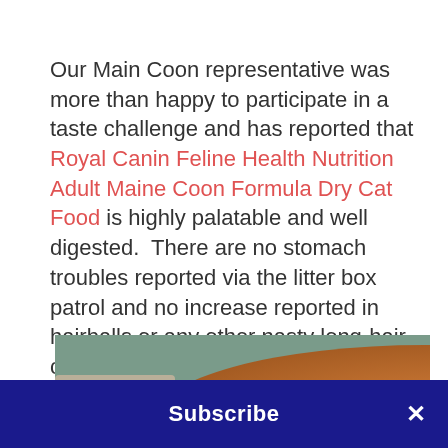Our Main Coon representative was more than happy to participate in a taste challenge and has reported that Royal Canin Feline Health Nutrition Adult Maine Coon Formula Dry Cat Food is highly palatable and well digested.  There are no stomach troubles reported via the litter box patrol and no increase reported in hairballs or any other nasty long-hair cat issues.
[Figure (photo): Photo of an orange/ginger cat lying down, viewed from above against a teal/green background, with some items on the left side. A photobucket watermark is visible.]
Subscribe